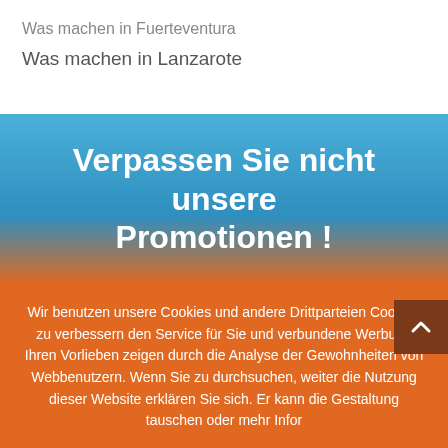Was machen in Fuerteventura
Was machen in Lanzarote
Verpassen Sie nicht unsere Promotionen !
Wir benutzen unsere Cookies und andere Drittparteien Cookies zu verbessern den Service für Sie und verbundene Werbung Ihren Vorlieben zeigen durch die Analyse der Gewohnheiten von Webbenutzern. Wenn Sie zu durchsuchen, weiter die Nutzung dieser Website erklären Sie sich. Er kann die Gestaltung tauschen oder mehr Infor
Hier erlangen . Akzeptiere